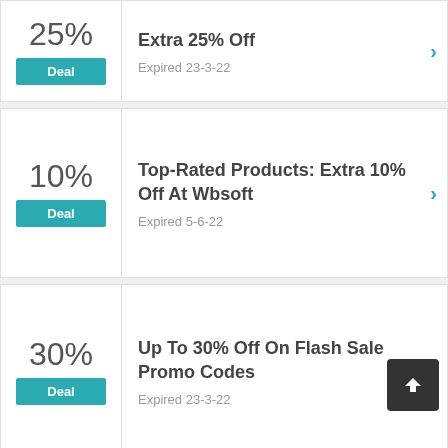25%
Deal
Extra 25% Off
Expired 23-3-22
10%
Deal
Top-Rated Products: Extra 10% Off At Wbsoft
Expired 5-6-22
30%
Deal
Up To 30% Off On Flash Sale Promo Codes
Expired 23-3-22